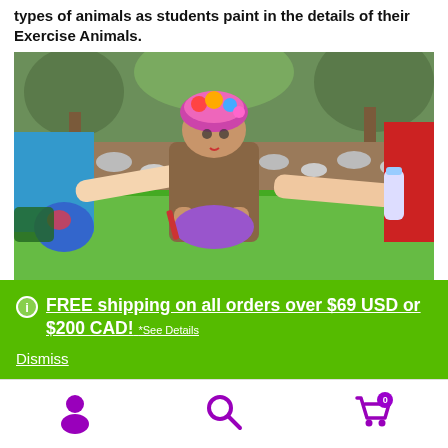types of animals as students paint in the details of their Exercise Animals.
[Figure (photo): Children painting at an outdoor table with a green tablecloth. A girl wearing a colorful floral headband and brown shirt is leaning over the table working on a project. Adults are helping on either side. Water bottles and craft supplies are visible on the table.]
FREE shipping on all orders over $69 USD or $200 CAD! *See Details
Dismiss